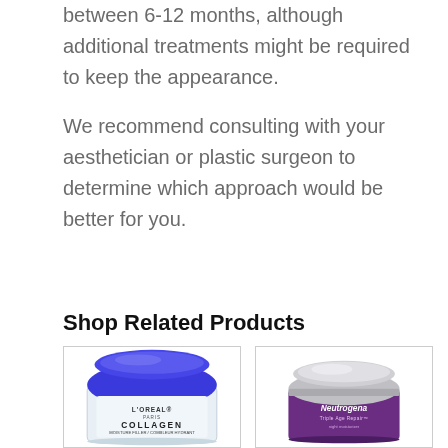between 6-12 months, although additional treatments might be required to keep the appearance.

We recommend consulting with your aesthetician or plastic surgeon to determine which approach would be better for you.
Shop Related Products
[Figure (photo): L'Oreal Paris Collagen Moisture Filler / Combleur Hydrant cream jar with blue lid]
[Figure (photo): Neutrogena Triple Age Repair night moisturizer cream jar with silver lid]